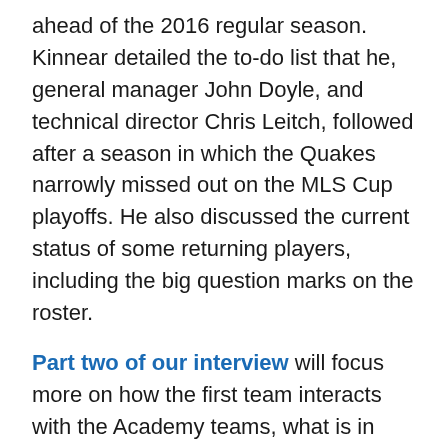ahead of the 2016 regular season. Kinnear detailed the to-do list that he, general manager John Doyle, and technical director Chris Leitch, followed after a season in which the Quakes narrowly missed out on the MLS Cup playoffs. He also discussed the current status of some returning players, including the big question marks on the roster.
Part two of our interview will focus more on how the first team interacts with the Academy teams, what is in store for the Quakes partnership with USL affiliate Sacramento Republic FC, and what intangibles Kinnear believes are required for a coach to be successful in MLS.
Center Line Soccer: Thanks for taking time here at the start of the preseason to talk about how the